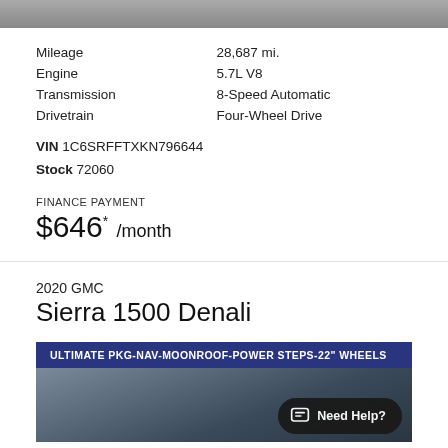[Figure (photo): Top portion of a vehicle photo, gray/dark background, cropped]
| Mileage | 28,687 mi. |
| Engine | 5.7L V8 |
| Transmission | 8-Speed Automatic |
| Drivetrain | Four-Wheel Drive |
VIN 1C6SRFFTXKN796644
Stock 72060
FINANCE PAYMENT
$646* /month
2020 GMC
Sierra 1500 Denali
[Figure (photo): 2020 GMC Sierra 1500 Denali truck in dark blue/navy, with banner: ULTIMATE PKG-NAV-MOONROOF-POWER STEPS-22" WHEELS, and a Need Help? chat button overlay]